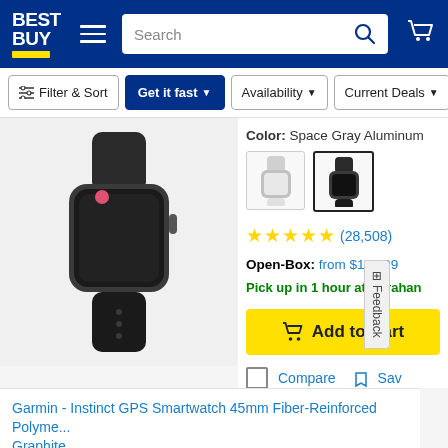[Figure (screenshot): Best Buy website header with logo, hamburger menu, search bar, and cart icon on blue background]
[Figure (screenshot): Filter bar with Filter & Sort, Get it fast (blue), Availability, and Current Deals dropdown buttons]
[Figure (photo): Apple Watch with black sport band and space gray aluminum case, product image on gray background]
Color: Space Gray Aluminum
[Figure (photo): Two Apple Watch color swatches: silver/white band (unselected) and space gray/black band (selected with border)]
★★★★★ (28,508)
Open-Box: from $111.99
Pick up in 1 hour at Harahan
[Figure (screenshot): Yellow Add to Cart button with cart icon]
Compare   Sav
Garmin - Instinct GPS Smartwatch 45mm Fiber-Reinforced Polyme... Graphite